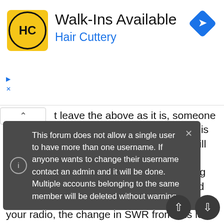[Figure (logo): Hair Cuttery advertisement banner with HC logo, 'Walk-Ins Available' heading, and a blue navigation arrow icon]
t leave the above as it is, someone is going to come along and say that there is losses in the feed line and those losses will change the SWR. This is both 100% true, and out of context of what is typically being discussed. Assuming you don't have a bad jumper cable between the SWR meter and your radio, the change in SWR from this loss over said jumper cable isn't enough to be picked up by a typical SWR meter or even many antenna analyzers, including the venerable MFJ-259 series. Because of this, ...easure said SWR ...longer feed line ...might come into ...e are taking ...hat this fact ...
This forum does not allow a single user to have more than one username. If anyone wants to change their username contact an admin and it will be done. Multiple accounts belonging to the same member will be deleted without warning.